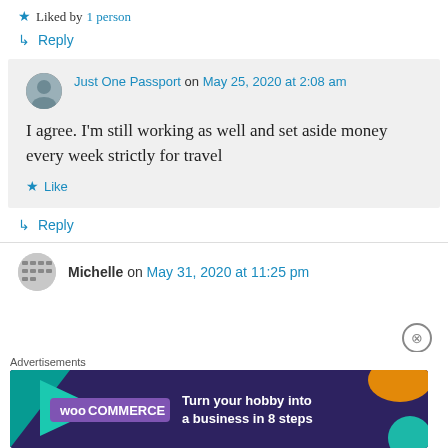★ Liked by 1 person
↳ Reply
Just One Passport on May 25, 2020 at 2:08 am
I agree. I'm still working as well and set aside money every week strictly for travel
★ Like
↳ Reply
Michelle on May 31, 2020 at 11:25 pm
Advertisements
[Figure (screenshot): WooCommerce advertisement banner: 'Turn your hobby into a business in 8 steps']